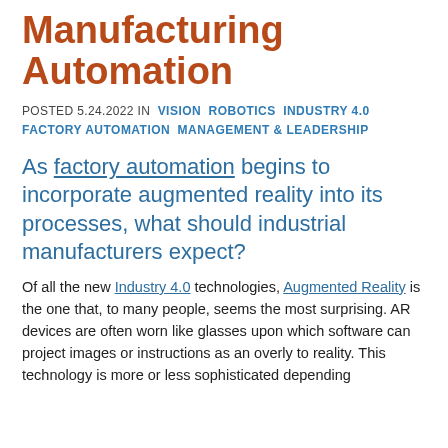Manufacturing Automation
POSTED 5.24.2022 IN  VISION  ROBOTICS  INDUSTRY 4.0  FACTORY AUTOMATION  MANAGEMENT & LEADERSHIP
As factory automation begins to incorporate augmented reality into its processes, what should industrial manufacturers expect?
Of all the new Industry 4.0 technologies, Augmented Reality is the one that, to many people, seems the most surprising. AR devices are often worn like glasses upon which software can project images or instructions as an overly to reality. This technology is more or less sophisticated depending